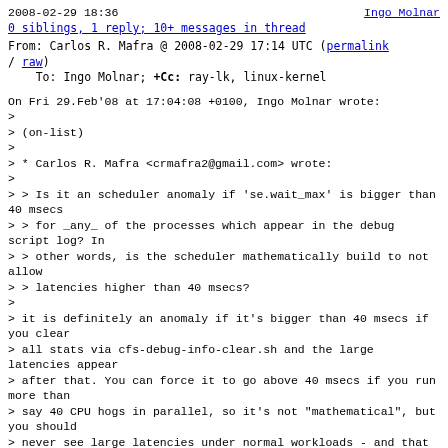2008-02-29 18:36    Ingo Molnar
0 siblings, 1 reply; 10+ messages in thread
From: Carlos R. Mafra @ 2008-02-29 17:14 UTC ( permalink / raw)
    To: Ingo Molnar; +Cc: ray-lk, linux-kernel
On Fri 29.Feb'08 at 17:04:08 +0100, Ingo Molnar wrote:
>
> (on-list)
>
> * Carlos R. Mafra <crmafra2@gmail.com> wrote:
>
> > Is it an scheduler anomaly if 'se.wait_max' is bigger than 40 msecs
> > for _any_ of the processes which appear in the debug script log? In
> > other words, is the scheduler mathematically build to not allow
> > latencies higher than 40 msecs?
>
> it is definitely an anomaly if it's bigger than 40 msecs if you clear
> all stats via cfs-debug-info-clear.sh and the large latencies appear
> after that. You can force it to go above 40 msecs if you run more than
> say 40 CPU hogs in parallel, so it's not "mathematical", but you should
> never see large latencies under normal workloads - and that includes